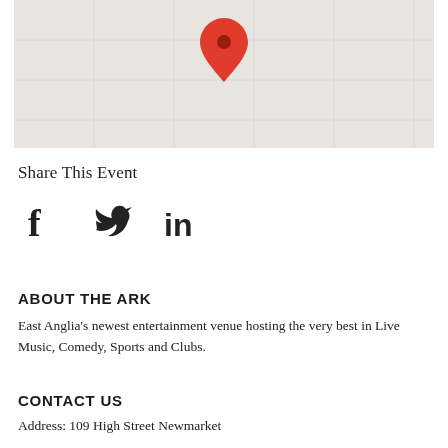[Figure (map): A static map with a light beige/grey background showing a location pin (red teardrop shape with dark center) near the top center of the map area.]
Share This Event
[Figure (infographic): Three social media icons: Facebook (f), Twitter (bird), LinkedIn (in), displayed horizontally in dark color.]
ABOUT THE ARK
East Anglia's newest entertainment venue hosting the very best in Live Music, Comedy, Sports and Clubs.
CONTACT US
Address: 109 High Street Newmarket